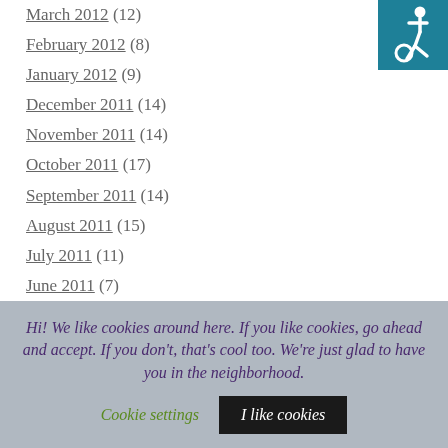March 2012 (12)
February 2012 (8)
January 2012 (9)
December 2011 (14)
November 2011 (14)
October 2011 (17)
September 2011 (14)
August 2011 (15)
July 2011 (11)
June 2011 (7)
May 2011 (12)
April 2011 (15)
March 2011 (28)
February 2011 (34)
[Figure (logo): Accessibility icon - wheelchair symbol on teal/blue background]
Hi! We like cookies around here. If you like cookies, go ahead and accept. If you don't, that's cool too. We're just glad to have you in the neighborhood. Cookie settings I like cookies